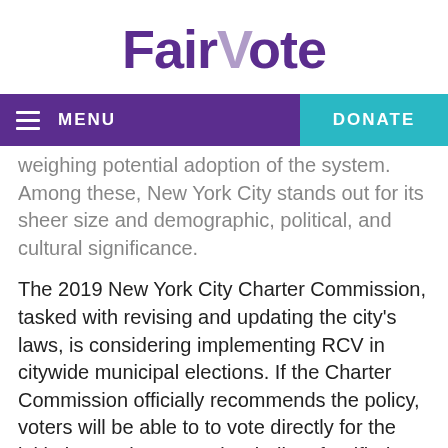[Figure (logo): FairVote logo in purple with lighter V]
[Figure (screenshot): Navigation bar with purple MENU and teal DONATE buttons]
weighing potential adoption of the system. Among these, New York City stands out for its sheer size and demographic, political, and cultural significance.
The 2019 New York City Charter Commission, tasked with revising and updating the city's laws, is considering implementing RCV in citywide municipal elections. If the Charter Commission officially recommends the policy, voters will be able to to vote directly for the initiative on the November ballot. If ratified, New York City would be the largest municipality in America to adopt RCV.